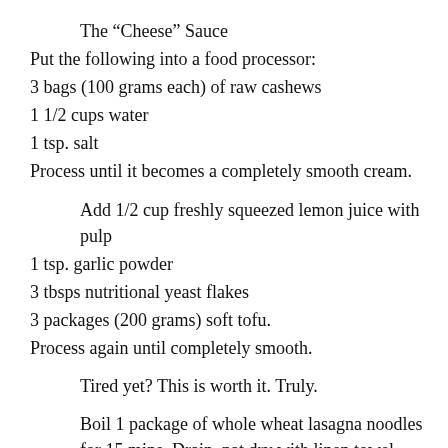The “Cheese” Sauce
Put the following into a food processor:
3 bags (100 grams each) of raw cashews
1 1/2 cups water
1 tsp. salt
Process until it becomes a completely smooth cream.
Add 1/2 cup freshly squeezed lemon juice with pulp
1 tsp. garlic powder
3 tbsps nutritional yeast flakes
3 packages (200 grams) soft tofu.
Process again until completely smooth.
Tired yet? This is worth it. Truly.
Boil 1 package of whole wheat lasagna noodles for 15 mins. Drain, pat dry with linen towel.
Layer noodles, veg sauce, cheese sauce x 3. We find that it